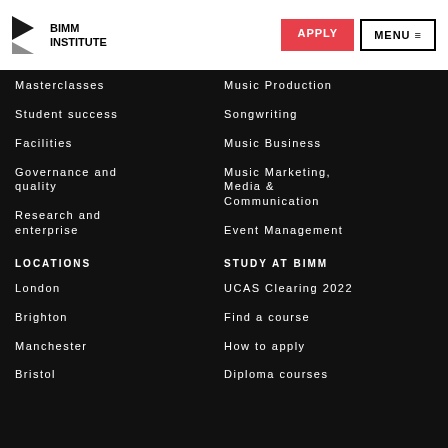BIMM INSTITUTE | APPLY | MENU
Masterclasses
Student success
Facilities
Governance and quality
Research and enterprise
Music Production
Songwriting
Music Business
Music Marketing, Media & Communication
Event Management
LOCATIONS
London
Brighton
Manchester
Bristol
STUDY AT BIMM
UCAS Clearing 2022
Find a course
How to apply
Diploma courses